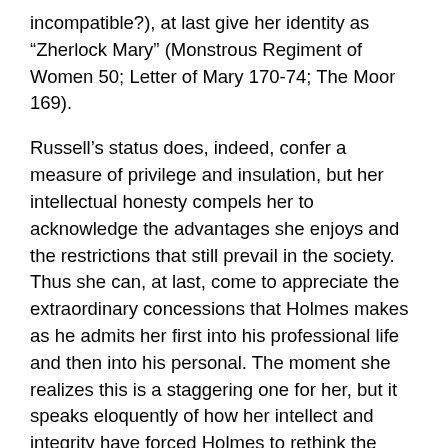incompatible?), at last give her identity as “Zherlock Mary” (Monstrous Regiment of Women 50; Letter of Mary 170-74; The Moor 169).
Russell’s status does, indeed, confer a measure of privilege and insulation, but her intellectual honesty compels her to acknowledge the advantages she enjoys and the restrictions that still prevail in the society. Thus she can, at last, come to appreciate the extraordinary concessions that Holmes makes as he admits her first into his professional life and then into his personal. The moment she realizes this is a staggering one for her, but it speaks eloquently of how her intellect and integrity have forced Holmes to rethink the world: “This man who was a Victorian gentleman down to his boots; this man was now . . . telling me in crystal-clear terms that he was prepared to treat me as his complete, full, and unequivocal equal, if that was what I wished” (Beekeeper’s